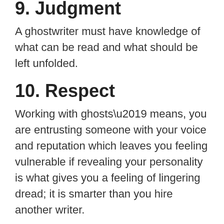9. Judgment
A ghostwriter must have knowledge of what can be read and what should be left unfolded.
10. Respect
Working with ghosts’ means, you are entrusting someone with your voice and reputation which leaves you feeling vulnerable if revealing your personality is what gives you a feeling of lingering dread; it is smarter than you hire another writer.